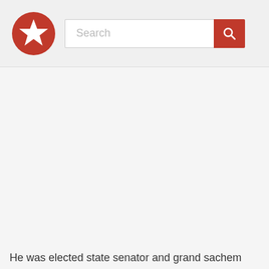[Figure (screenshot): Website header with orange star logo and search bar with orange search button]
He was elected state senator and grand sachem